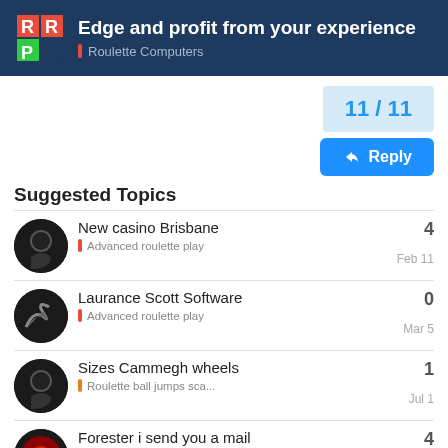Edge and profit from your experience | Roulette Computers
11 / 11
Reply
Suggested Topics
New casino Brisbane | Advanced roulette play | 4 | Feb 11
Laurance Scott Software | Advanced roulette play | 0 | Mar 5
Sizes Cammegh wheels | Roulette ball jumps sca... | 1 | Jul 1
Forester i send you a mail | 4 | Feb 7